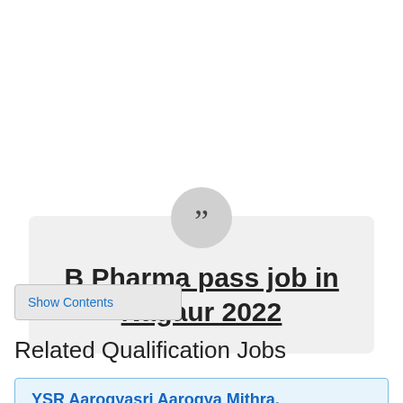B Pharma pass job in Nagaur 2022
Show Contents
Related Qualification Jobs
YSR Aarogyasri Aarogya Mithra, Team Teader, Data Entry Oprator